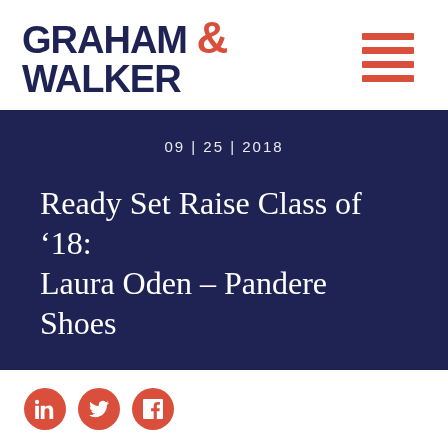GRAHAM & WALKER
09 | 25 | 2018
Ready Set Raise Class of ’18: Laura Oden – Pandere Shoes